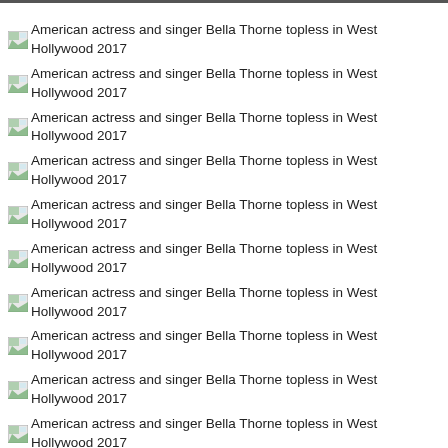American actress and singer Bella Thorne topless in West Hollywood 2017
American actress and singer Bella Thorne topless in West Hollywood 2017
American actress and singer Bella Thorne topless in West Hollywood 2017
American actress and singer Bella Thorne topless in West Hollywood 2017
American actress and singer Bella Thorne topless in West Hollywood 2017
American actress and singer Bella Thorne topless in West Hollywood 2017
American actress and singer Bella Thorne topless in West Hollywood 2017
American actress and singer Bella Thorne topless in West Hollywood 2017
American actress and singer Bella Thorne topless in West Hollywood 2017
American actress and singer Bella Thorne topless in West Hollywood 2017
American actress and singer Bella Thorne topless in West Hollywood 2017